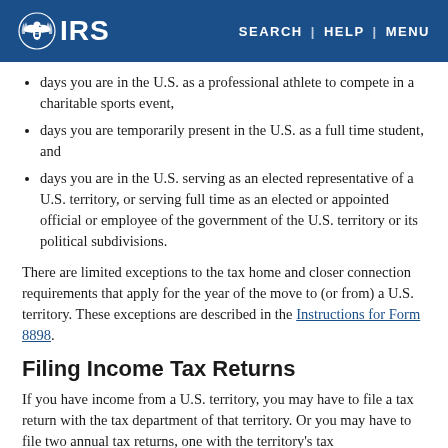IRS | SEARCH | HELP | MENU
days you are in the U.S. as a professional athlete to compete in a charitable sports event,
days you are temporarily present in the U.S. as a full time student, and
days you are in the U.S. serving as an elected representative of a U.S. territory, or serving full time as an elected or appointed official or employee of the government of the U.S. territory or its political subdivisions.
There are limited exceptions to the tax home and closer connection requirements that apply for the year of the move to (or from) a U.S. territory. These exceptions are described in the Instructions for Form 8898.
Filing Income Tax Returns
If you have income from a U.S. territory, you may have to file a tax return with the tax department of that territory. Or you may have to file two annual tax returns, one with the territory's tax